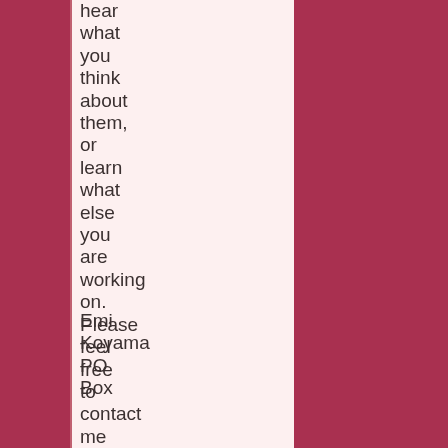hear what you think about them, or learn what else you are working on. Please feel free to contact me in any of the following ways:
Emi Koyama PO Box